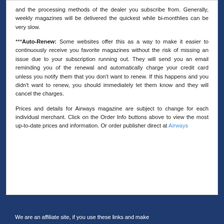and the processing methods of the dealer you subscribe from. Generally, weekly magazines will be delivered the quickest while bi-monthlies can be very slow.
***Auto-Renew: Some websites offer this as a way to make it easier to continuously receive you favorite magazines without the risk of missing an issue due to your subscription running out. They will send you an email reminding you of the renewal and automatically charge your credit card unless you notify them that you don't want to renew. If this happens and you didn't want to renew, you should immediately let them know and they will cancel the charges.
Prices and details for Airways magazine are subject to change for each individual merchant. Click on the Order Info buttons above to view the most up-to-date prices and information. Or order publisher direct at Airways
We are an affiliate site, if you use these links and make